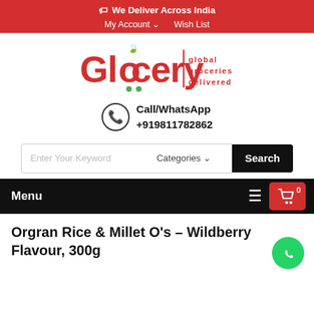We Deliver Across India
My Account  Wish List
[Figure (logo): Glocery logo — red stylized text with green leaf and dots, vertical red divider, tagline 'global groceries delivered']
Call/WhatsApp
+919811782862
Enter Your Keyword   Categories   Search
Menu   0
Orgran Rice & Millet O's – Wildberry Flavour, 300g